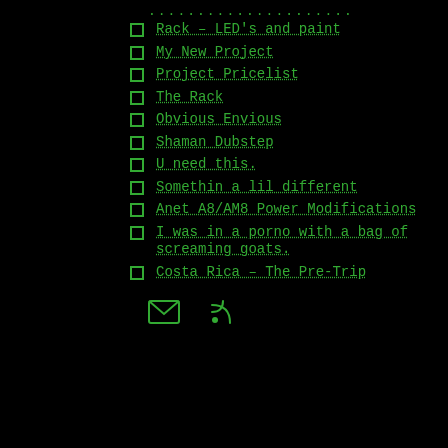Rack – LED's and paint
My New Project
Project Pricelist
The Rack
Obvious Envious
Shaman Dubstep
U need this.
Somethin a lil different
Anet A8/AM8 Power Modifications
I was in a porno with a bag of screaming goats.
Costa Rica – The Pre-Trip
[Figure (other): Email and RSS feed icons]